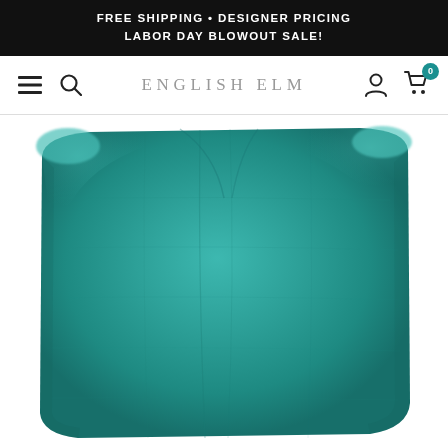FREE SHIPPING • DESIGNER PRICING LABOR DAY BLOWOUT SALE!
[Figure (screenshot): Website navigation bar with hamburger menu, search icon, English Elm brand name, user account icon, and shopping cart icon with 0 badge]
[Figure (photo): Teal/turquoise decorative throw pillow against white background, showing textured fabric with slight sheen and natural wrinkles]